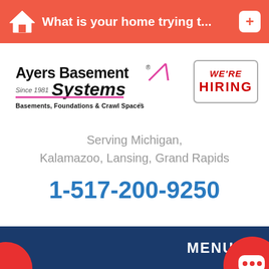What is your home trying t...
[Figure (logo): Ayers Basement Systems logo — Since 1981, Basements, Foundations & Crawl Spaces, with pink/magenta underline and triangular roof graphic]
[Figure (other): WE'RE HIRING badge in red text with grey border]
Serving Michigan, Kalamazoo, Lansing, Grand Rapids
1-517-200-9250
MENU